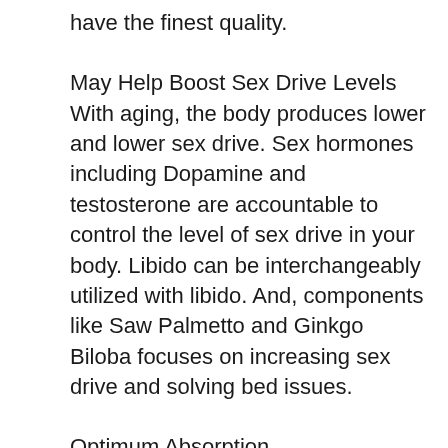have the finest quality.
May Help Boost Sex Drive Levels
With aging, the body produces lower and lower sex drive. Sex hormones including Dopamine and testosterone are accountable to control the level of sex drive in your body. Libido can be interchangeably utilized with libido. And, components like Saw Palmetto and Ginkgo Biloba focuses on increasing sex drive and solving bed issues.
Optimum Absorption
VigRX Plus active ingredients list also includes Bioperine or black pepper, which increases the absorption level of all the nutrients present in the supplement by 40%. This will allow your body to get a larger